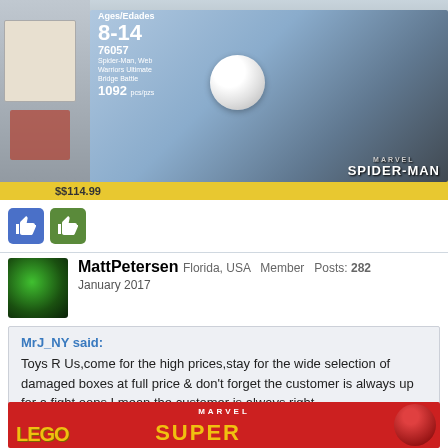[Figure (photo): Photo of a LEGO Spider-Man set (76057) on a store shelf at Toys R Us, showing the box with age range 8-14, set number 76057, Spider-Man Web Warriors Ultimate Bridge Battle, 1092 pieces. Price tag shows $114.99 on yellow shelf strip.]
[Figure (photo): Two reaction/like icon buttons shown below the photo.]
MattPetersen Florida, USA Member Posts: 282
January 2017
MrJ_NY said:
Toys R Us,come for the high prices,stay for the wide selection of damaged boxes at full price & don't forget the customer is always up for a fight,oops I mean the customer is always right
[Figure (photo): Bottom partial image of LEGO Marvel Super Heroes set box showing red background with LEGO logo in yellow, MARVEL text, SUPER text in yellow, and Spider-Man image on the right.]